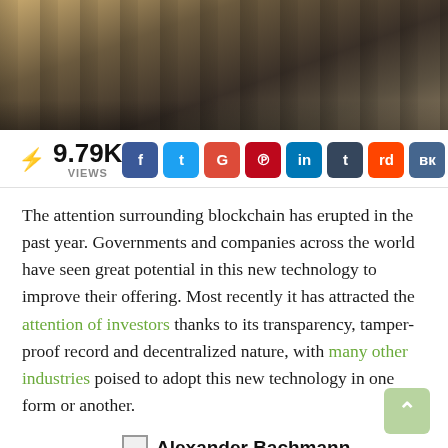[Figure (photo): Hero banner photo showing what appears to be server racks or keyboard keys with bokeh lighting effect in warm brown/sepia tones]
⚡ 9.79K VIEWS
[Figure (infographic): Social share buttons: Facebook, Twitter, Google+, Pinterest, LinkedIn, Tumblr, Reddit, VK, Email]
The attention surrounding blockchain has erupted in the past year. Governments and companies across the world have seen great potential in this new technology to improve their offering. Most recently it has attracted the attention of investors thanks to its transparency, tamper-proof record and decentralized nature, with many other industries poised to adopt this new technology in one form or another.
[Figure (photo): Small thumbnail photo of Alexander Bachmann]
Alexander Bachmann - CEO & Founder of Admitad Group